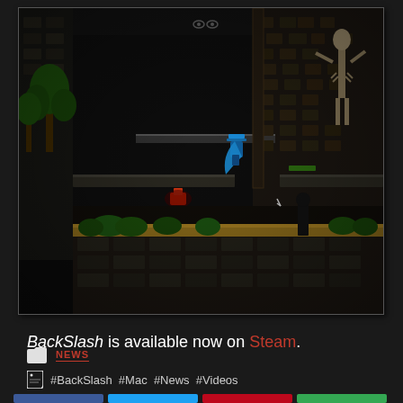[Figure (screenshot): 2D side-scrolling video game screenshot showing a dark dungeon/castle environment with a player character in blue, a red enemy, trees, stone platforms, and a skeleton statue on the right side. The scene is dark with ambient lighting.]
BackSlash is available now on Steam.
NEWS
#BackSlash #Mac #News #Videos